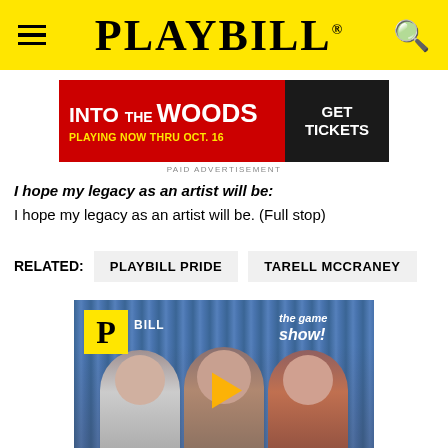PLAYBILL
[Figure (screenshot): Into the Woods advertisement banner: red background with 'INTO THE WOODS' title, 'PLAYING NOW THRU OCT. 16' subtext and dark 'GET TICKETS' button on right]
PAID ADVERTISEMENT
I hope my legacy as an artist will be:
I hope my legacy as an artist will be. (Full stop)
RELATED:  PLAYBILL PRIDE  TARELL MCCRANEY
[Figure (screenshot): Video thumbnail showing Playbill The Game Show with three women and a play button overlay, blue curtain background]